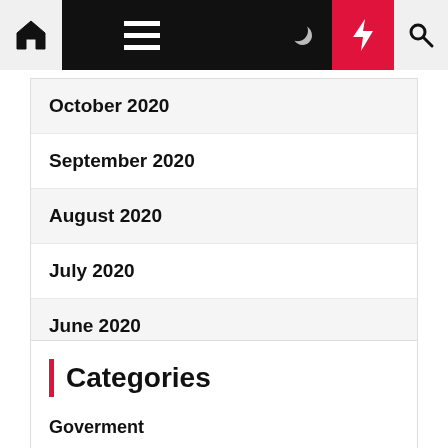[Figure (screenshot): Navigation bar with home icon, hamburger menu, moon icon, lightning bolt (red), and search icon on black background]
October 2020
September 2020
August 2020
July 2020
June 2020
May 2020
April 2020
March 2020
Categories
Goverment